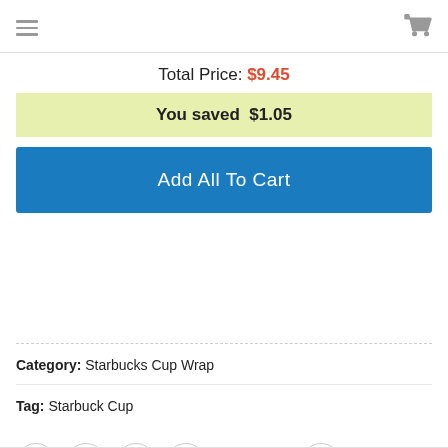Total Price: $9.45
You saved  $1.05
Add All To Cart
Category: Starbucks Cup Wrap
Tag: Starbuck Cup
[Figure (other): Social share icons row: WhatsApp, Facebook, Twitter, Email, Pinterest Save button, LinkedIn]